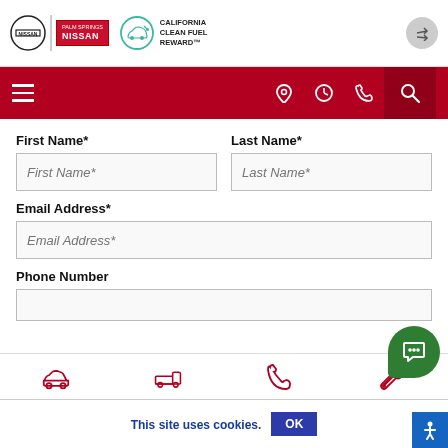[Figure (logo): Nissan logo and Palm Springs Nissan dealer badge with California Clean Fuel Reward logo]
[Figure (screenshot): Red navigation bar with hamburger menu, location, clock, phone, and search icons]
First Name*
Last Name*
Email Address*
Phone Number
[Figure (screenshot): Bottom navigation bar with car, truck, phone, and wrench icons]
This site uses cookies.